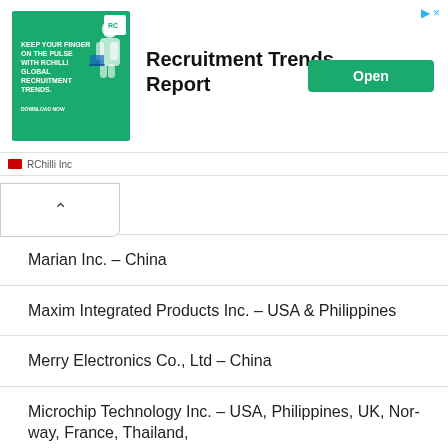[Figure (screenshot): Advertisement banner for RChilli Inc Recruitment Trends Report with green background image, bold title 'Recruitment Trends Report', green 'Open' button, and RChilli Inc sponsor label.]
Marian Inc. – China
Maxim Integrated Products Inc. – USA & Philippines
Merry Electronics Co., Ltd – China
Microchip Technology Inc. – USA, Philippines, UK, Norway, France, Thailand,